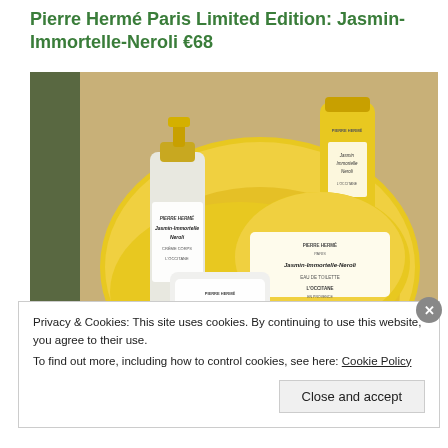Pierre Hermé Paris Limited Edition: Jasmin-Immortelle-Neroli €68
[Figure (photo): Yellow L'Occitane x Pierre Hermé Paris Jasmin-Immortelle-Neroli limited edition gift set products arranged in a round yellow tin, including a spray bottle, tube, large round container, and small soap, with a colorful floral pouch visible]
Privacy & Cookies: This site uses cookies. By continuing to use this website, you agree to their use.
To find out more, including how to control cookies, see here: Cookie Policy
Close and accept